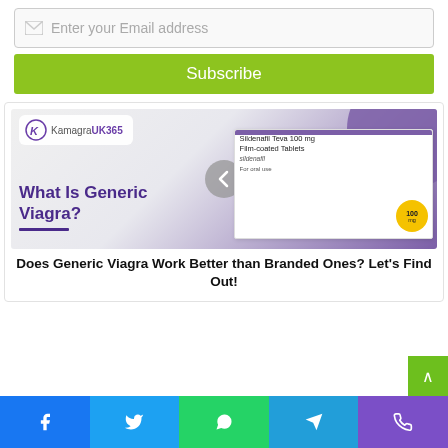Enter your Email address
Subscribe
[Figure (screenshot): KamagraUK365 branded article image showing a Sildenafil Teva 100 mg Film-coated Tablets box and the text 'What Is Generic Viagra?' with a carousel navigation arrow.]
Does Generic Viagra Work Better than Branded Ones? Let's Find Out!